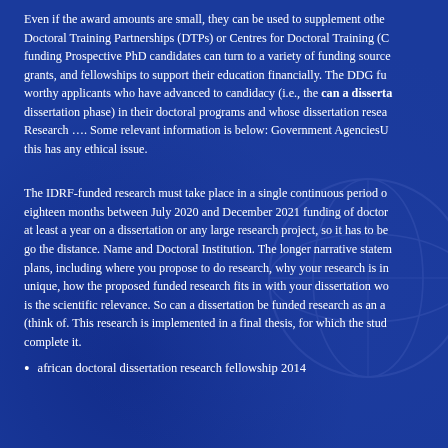Even if the award amounts are small, they can be used to supplement other... Doctoral Training Partnerships (DTPs) or Centres for Doctoral Training (C... funding Prospective PhD candidates can turn to a variety of funding source... grants, and fellowships to support their education financially. The DDG fu... worthy applicants who have advanced to candidacy (i.e., the can a disserta... dissertation phase) in their doctoral programs and whose dissertation resea... Research .... Some relevant information is below: Government AgenciesU... this has any ethical issue.
The IDRF-funded research must take place in a single continuous period o... eighteen months between July 2020 and December 2021 funding of doctor... at least a year on a dissertation or any large research project, so it has to be... go the distance. Name and Doctoral Institution. The longer narrative statem... plans, including where you propose to do research, why your research is in... unique, how the proposed funded research fits in with your dissertation wo... is the scientific relevance. So can a dissertation be funded research as an a... (think of. This research is implemented in a final thesis, for which the stud... complete it.
african doctoral dissertation research fellowship 2014